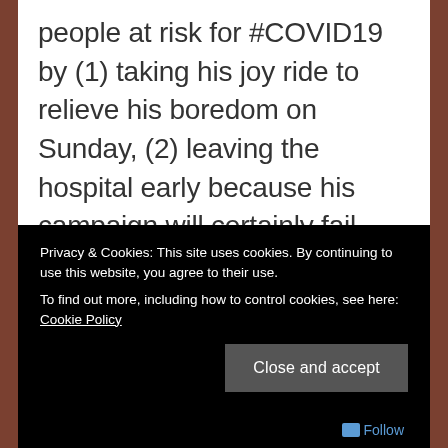people at risk for #COVID19 by (1) taking his joy ride to relieve his boredom on Sunday, (2) leaving the hospital early because his campaign will certainly fail unless he does, (3) taking his mask off and immediately exposing his campaign's media personnel to #COVID19 upon his arrival at the WH, and, now, (4) holding the #COVID19
Privacy & Cookies: This site uses cookies. By continuing to use this website, you agree to their use.
To find out more, including how to control cookies, see here: Cookie Policy